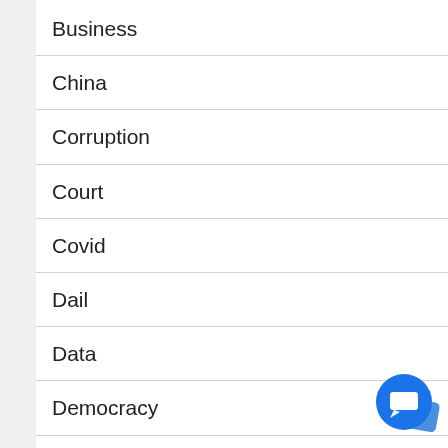Business
China
Corruption
Court
Covid
Dail
Data
Democracy
Discrimination
[Figure (illustration): Blue chat/messenger button icon in bottom right corner]